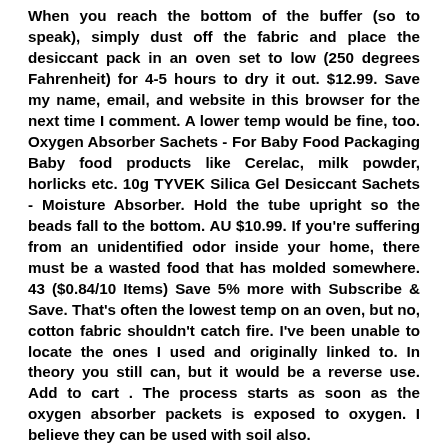When you reach the bottom of the buffer (so to speak), simply dust off the fabric and place the desiccant pack in an oven set to low (250 degrees Fahrenheit) for 4-5 hours to dry it out. $12.99. Save my name, email, and website in this browser for the next time I comment. A lower temp would be fine, too. Oxygen Absorber Sachets - For Baby Food Packaging Baby food products like Cerelac, milk powder, horlicks etc. 10g TYVEK Silica Gel Desiccant Sachets - Moisture Absorber. Hold the tube upright so the beads fall to the bottom. AU $10.99. If you're suffering from an unidentified odor inside your home, there must be a wasted food that has molded somewhere. 43 ($0.84/10 Items) Save 5% more with Subscribe & Save. That's often the lowest temp on an oven, but no, cotton fabric shouldn't catch fire. I've been unable to locate the ones I used and originally linked to. In theory you still can, but it would be a reverse use. Add to cart . The process starts as soon as the oxygen absorber packets is exposed to oxygen. I believe they can be used with soil also.